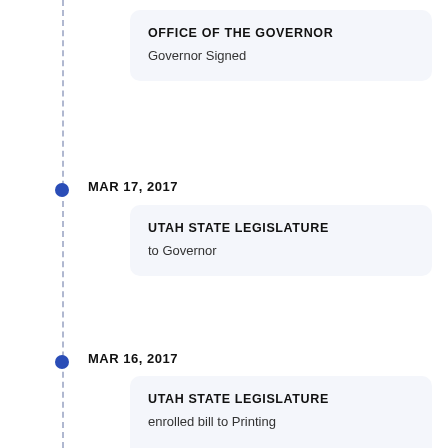OFFICE OF THE GOVERNOR
Governor Signed
MAR 17, 2017
UTAH STATE LEGISLATURE
to Governor
MAR 16, 2017
UTAH STATE LEGISLATURE
enrolled bill to Printing